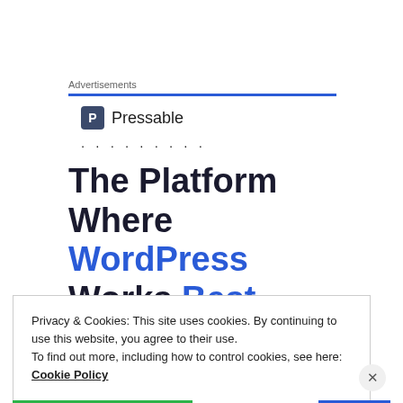Advertisements
[Figure (logo): Pressable logo with dark blue square P icon and text 'Pressable', followed by a row of dots]
The Platform Where WordPress Works Best
Privacy & Cookies: This site uses cookies. By continuing to use this website, you agree to their use.
To find out more, including how to control cookies, see here: Cookie Policy
Close and accept